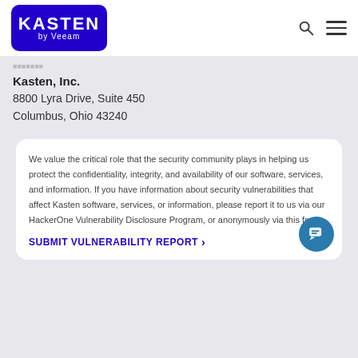Kasten by Veeam
Kasten, Inc.
8800 Lyra Drive, Suite 450
Columbus, Ohio 43240
We value the critical role that the security community plays in helping us protect the confidentiality, integrity, and availability of our software, services, and information. If you have information about security vulnerabilities that affect Kasten software, services, or information, please report it to us via our HackerOne Vulnerability Disclosure Program, or anonymously via this form.
SUBMIT VULNERABILITY REPORT >